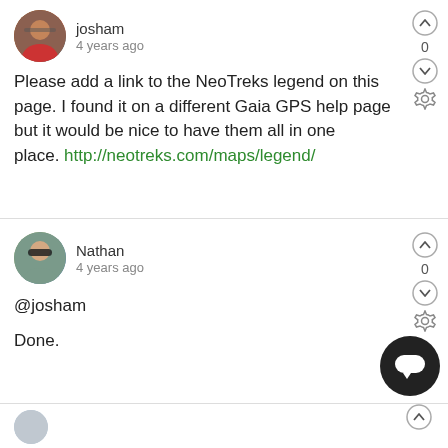josham
4 years ago
Please add a link to the NeoTreks legend on this page. I found it on a different Gaia GPS help page but it would be nice to have them all in one place. http://neotreks.com/maps/legend/
Nathan
4 years ago
@josham

Done.